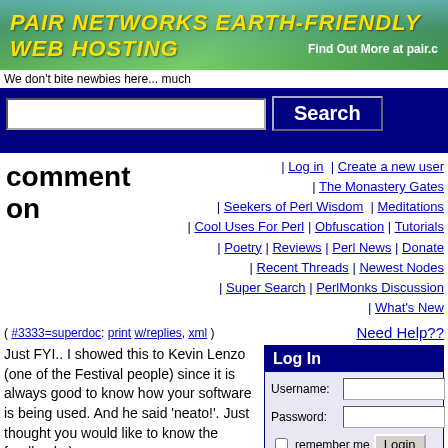[Figure (photo): Pair Networks Earth-Friendly Web Hosting banner with green leaf background and blue sky gradient]
We don't bite newbies here... much
[Figure (other): Search bar with text input and Search button on dark blue background]
comment on
| Log in | Create a new user | The Monastery Gates | Seekers of Perl Wisdom | Meditations | Cool Uses For Perl | Obfuscation | Tutorials | Poetry | Reviews | Perl News | Donate | Recent Threads | Newest Nodes | Super Search | PerlMonks Discussion | What's New
( #3333=superdoc: print w/replies, xml )
Need Help??
Just FYI.. I showed this to Kevin Lenzo (one of the Festival people) since it is always good to know how your software is being used. And he said 'neato!'. Just thought you would like to know the feedback :)
Log In
Username:
Password:
remember me
Login
What's my password?
Create A New User